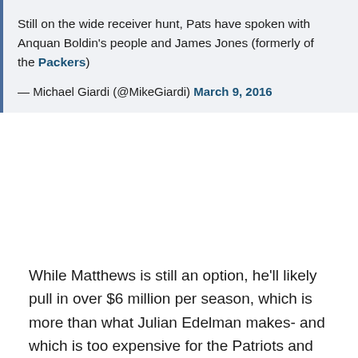Still on the wide receiver hunt, Pats have spoken with Anquan Boldin's people and James Jones (formerly of the Packers)
— Michael Giardi (@MikeGiardi) March 9, 2016
While Matthews is still an option, he'll likely pull in over $6 million per season, which is more than what Julian Edelman makes- and which is too expensive for the Patriots and their limited cap space.